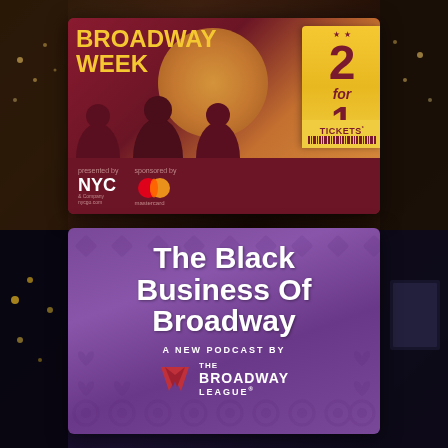[Figure (photo): Dark theater interior background image spanning the full page, with warm golden-brown tones on top half and cool dark tones on bottom half. Two promotional cards are overlaid on the background.]
[Figure (illustration): Broadway Week promotional card with dark red/maroon background. Shows silhouettes of three audience members in front of an orange stage curtain. Large yellow text reads 'BROADWAY WEEK' on the left. A golden ticket stub on the right displays '2 for 1 TICKETS'. Bottom section shows 'Presented by NYC & Company' and 'Sponsored by Mastercard' logos.]
[Figure (illustration): The Black Business Of Broadway promotional card with purple/violet background featuring decorative floral/geometric pattern. White bold text reads 'The Black Business Of Broadway'. Below reads 'A NEW PODCAST BY' and The Broadway League logo.]